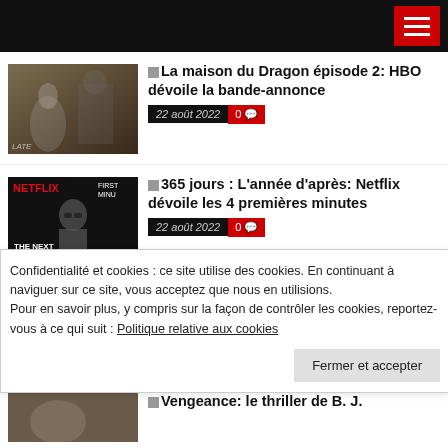Header navigation bar with hamburger menu
▶ La maison du Dragon épisode 2: HBO dévoile la bande-annonce
22 août 2022  0 💬
▶ 365 jours : L'année d'après: Netflix dévoile les 4 premières minutes
22 août 2022  0 💬
▶ Warhammer 40,000: Frank Spotnitz développe une série télé
Confidentialité et cookies : ce site utilise des cookies. En continuant à naviguer sur ce site, vous acceptez que nous en utilisions. Pour en savoir plus, y compris sur la façon de contrôler les cookies, reportez-vous à ce qui suit : Politique relative aux cookies
Vengeance: le thriller de B. J.